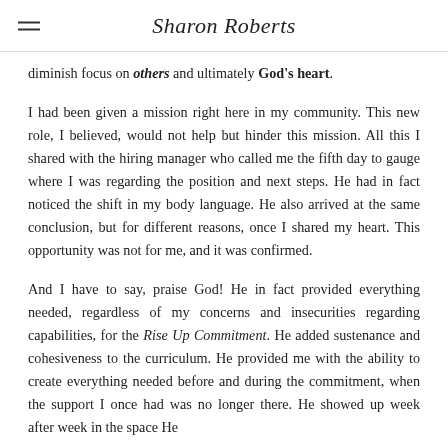Sharon Roberts
diminish focus on others and ultimately God's heart.
I had been given a mission right here in my community. This new role, I believed, would not help but hinder this mission. All this I shared with the hiring manager who called me the fifth day to gauge where I was regarding the position and next steps. He had in fact noticed the shift in my body language. He also arrived at the same conclusion, but for different reasons, once I shared my heart. This opportunity was not for me, and it was confirmed.
And I have to say, praise God! He in fact provided everything needed, regardless of my concerns and insecurities regarding capabilities, for the Rise Up Commitment. He added sustenance and cohesiveness to the curriculum. He provided me with the ability to create everything needed before and during the commitment, when the support I once had was no longer there. He showed up week after week in the space He